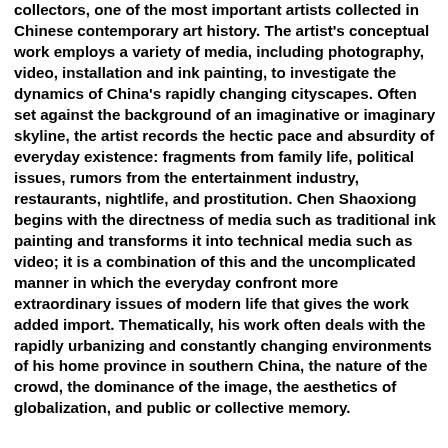collectors, one of the most important artists collected in Chinese contemporary art history. The artist's conceptual work employs a variety of media, including photography, video, installation and ink painting, to investigate the dynamics of China's rapidly changing cityscapes. Often set against the background of an imaginative or imaginary skyline, the artist records the hectic pace and absurdity of everyday existence: fragments from family life, political issues, rumors from the entertainment industry, restaurants, nightlife, and prostitution. Chen Shaoxiong begins with the directness of media such as traditional ink painting and transforms it into technical media such as video; it is a combination of this and the uncomplicated manner in which the everyday confront more extraordinary issues of modern life that gives the work added import. Thematically, his work often deals with the rapidly urbanizing and constantly changing environments of his home province in southern China, the nature of the crowd, the dominance of the image, the aesthetics of globalization, and public or collective memory.